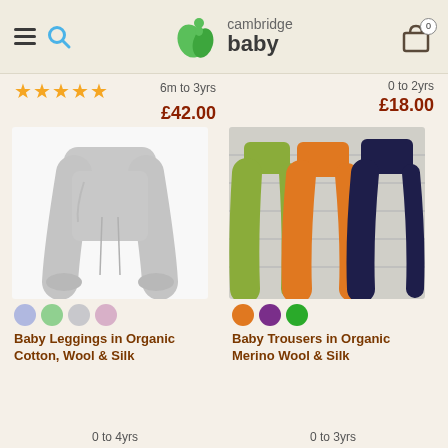Cambridge Baby - header with hamburger menu, search, logo, and cart (0)
6m to 3yrs
£42.00
0 to 2yrs
£18.00
[Figure (photo): Gray baby leggings with wide waistband and cuffed ankles on white background]
[Figure (photo): Three pairs of baby trousers in green, orange, and navy on wooden background]
Baby Leggings in Organic Cotton, Wool & Silk
Baby Trousers in Organic Merino Wool & Silk
0 to 4yrs
0 to 3yrs